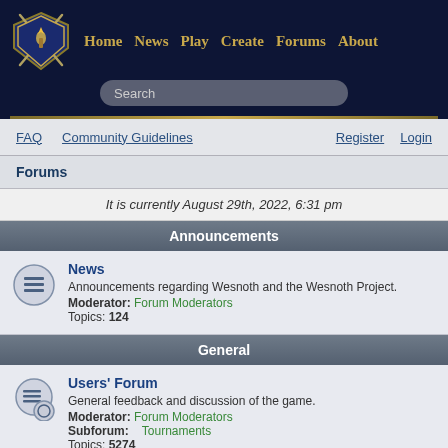Home  News  Play  Create  Forums  About
Search
FAQ   Community Guidelines   Register   Login
Forums
It is currently August 29th, 2022, 6:31 pm
Announcements
News
Announcements regarding Wesnoth and the Wesnoth Project.
Moderator: Forum Moderators
Topics: 124
General
Users' Forum
General feedback and discussion of the game.
Moderator: Forum Moderators
Subforum: Tournaments
Topics: 5274
Release Announcements, Compiling & Installation
Get help with compiling or installing the game, and discuss announcements of